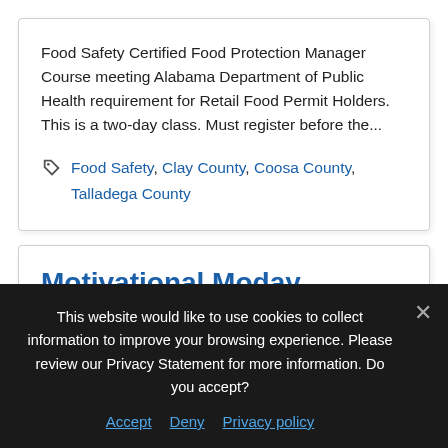Food Safety Certified Food Protection Manager Course meeting Alabama Department of Public Health requirement for Retail Food Permit Holders. This is a two-day class. Must register before the...
Food Safety, Clay County, Coosa County, Talladega County
Motivational Moday
This website would like to use cookies to collect information to improve your browsing experience. Please review our Privacy Statement for more information. Do you accept?
Accept  Deny  Privacy policy